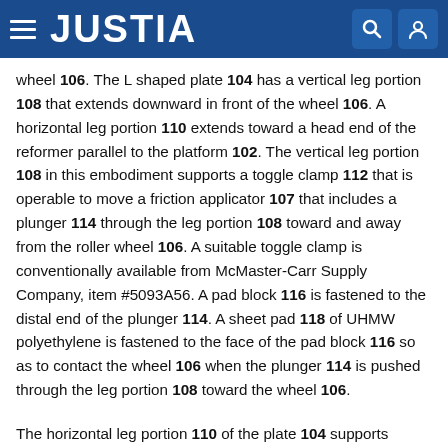JUSTIA
wheel 106. The L shaped plate 104 has a vertical leg portion 108 that extends downward in front of the wheel 106. A horizontal leg portion 110 extends toward a head end of the reformer parallel to the platform 102. The vertical leg portion 108 in this embodiment supports a toggle clamp 112 that is operable to move a friction applicator 107 that includes a plunger 114 through the leg portion 108 toward and away from the roller wheel 106. A suitable toggle clamp is conventionally available from McMaster-Carr Supply Company, item #5093A56. A pad block 116 is fastened to the distal end of the plunger 114. A sheet pad 118 of UHMW polyethylene is fastened to the face of the pad block 116 so as to contact the wheel 106 when the plunger 114 is pushed through the leg portion 108 toward the wheel 106.
The horizontal leg portion 110 of the plate 104 supports